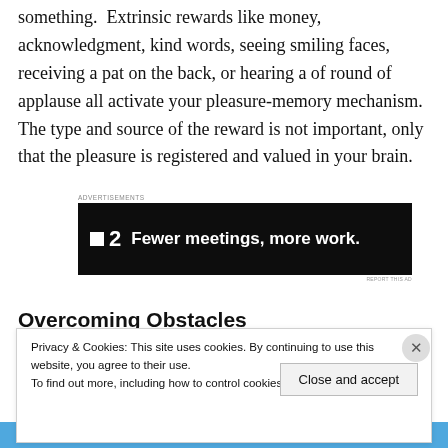something.  Extrinsic rewards like money, acknowledgment, kind words, seeing smiling faces, receiving a pat on the back, or hearing a of round of applause all activate your pleasure-memory mechanism.  The type and source of the reward is not important, only that the pleasure is registered and valued in your brain.
[Figure (screenshot): Advertisement banner with dark background showing 'F2 Fewer meetings, more work.' with Advertisements label above and REPORT THIS AD below]
Overcoming Obstacles
Privacy & Cookies: This site uses cookies. By continuing to use this website, you agree to their use.
To find out more, including how to control cookies, see here: Cookie Policy
Close and accept